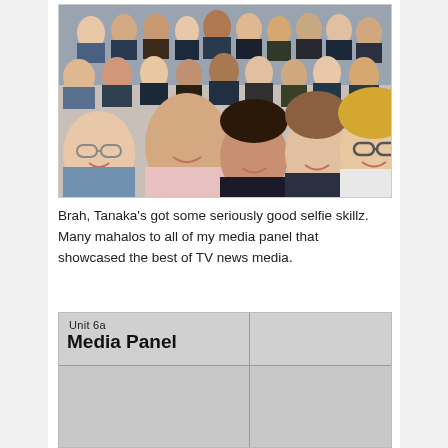[Figure (photo): Group selfie photo showing approximately 30 people smiling at camera in what appears to be a newsroom or office setting]
Brah, Tanaka's got some seriously good selfie skillz. Many mahalos to all of my media panel that showcased the best of TV news media.
[Figure (screenshot): Slide or screen showing 'Unit 6a' at top and 'Media Panel' in bold large text, with a grid layout of cells]